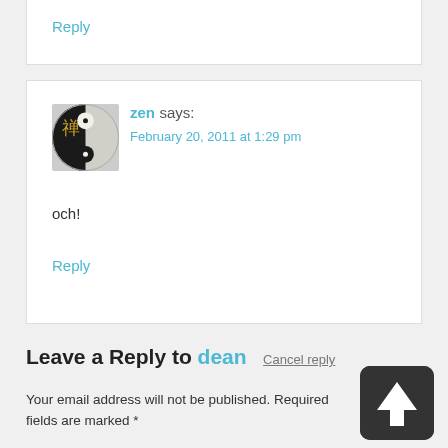Reply
zen says:
February 20, 2011 at 1:29 pm
och!
Reply
Leave a Reply to dean   Cancel reply
Your email address will not be published. Required fields are marked *